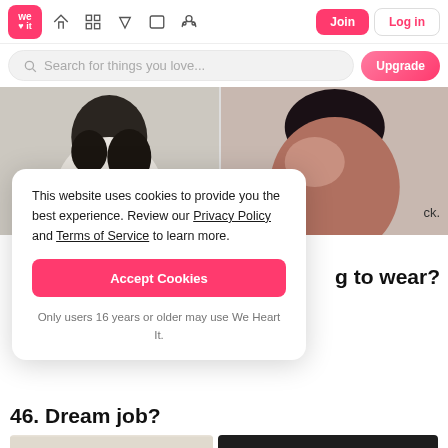We Heart It — navigation bar with logo, icons, Join and Log in buttons
Search for things you love...
[Figure (photo): Two photos: left shows a young woman with short dark curly hair in a light jacket; right shows a young woman with dark hair and necklace]
This website uses cookies to provide you the best experience. Review our Privacy Policy and Terms of Service to learn more.
Accept Cookies
Only users 16 years or older may use We Heart It.
ck.
g to wear?
46. Dream job?
[Figure (photo): Bottom left: piano/keyboard image; Bottom right: dark background photo]